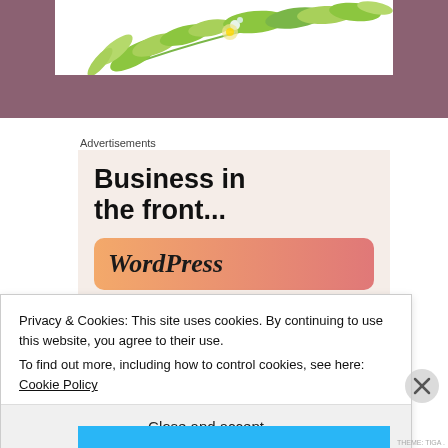[Figure (illustration): Floral illustration with green leaves and yellow flower on white background, set within a mauve/purple banner]
Advertisements
[Figure (screenshot): Advertisement box with text 'Business in the front...' on a light pink/beige background, with a WordPress logo on an orange-to-pink gradient bar]
Privacy & Cookies: This site uses cookies. By continuing to use this website, you agree to their use.
To find out more, including how to control cookies, see here: Cookie Policy
Close and accept